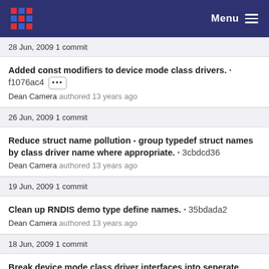Menu
28 Jun, 2009 1 commit
Added const modifiers to device mode class drivers. · f1076ac4 ··· Dean Camera authored 13 years ago
26 Jun, 2009 1 commit
Reduce struct name pollution - group typedef struct names by class driver name where appropriate. · 3cbdcd36 Dean Camera authored 13 years ago
19 Jun, 2009 1 commit
Clean up RNDIS demo type define names. · 35bdada2 Dean Camera authored 13 years ago
18 Jun, 2009 1 commit
Break device mode class driver interfaces into seperate config and state. · f896c00c ···